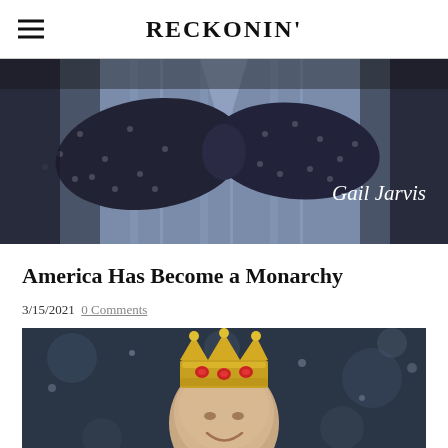RECKONIN'
[Figure (photo): Close-up photo of a man wearing a dark navy polka-dot bow tie and a blue striped dress shirt, with 'Gail Jarvis' text overlaid in white italic font in the lower right]
America Has Become a Monarchy
3/15/2021  0 Comments
[Figure (photo): Photo of a bald man smiling, wearing a golden crown with red gems, superimposed on a dark bokeh background]